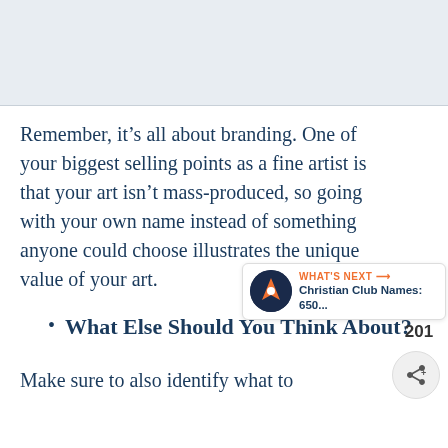[Figure (other): Gray placeholder image area at the top of the page]
Remember, it’s all about branding. One of your biggest selling points as a fine artist is that your art isn’t mass-produced, so going with your own name instead of something anyone could choose illustrates the unique value of your art.
What Else Should You Think About?
Make sure to also identify what to